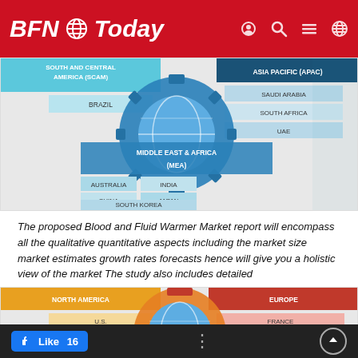BFN Today
[Figure (infographic): World market infographic showing regions: South and Central America (SCAM) with Brazil; Asia Pacific (APAC) with Saudi Arabia, South Africa, UAE; Middle East & Africa (MEA) with Australia, India, China, Japan, South Korea. Central gear/globe graphic in blue tones.]
The proposed Blood and Fluid Warmer Market report will encompass all the qualitative quantitative aspects including the market size market estimates growth rates forecasts hence will give you a holistic view of the market The study also includes detailed
[Figure (infographic): World market infographic showing regions: North America with U.S., Canada, Mexico; Europe with France, Germany, UK. Central gear/globe graphic in orange and red tones.]
Like 16